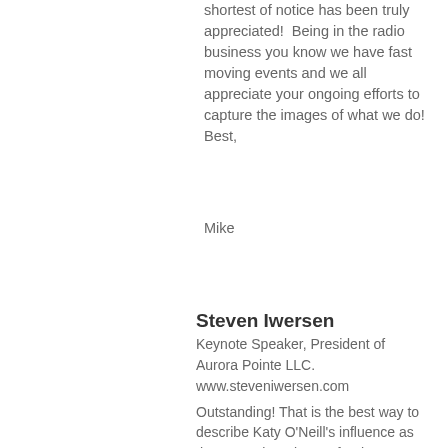shortest of notice has been truly appreciated!  Being in the radio business you know we have fast moving events and we all appreciate your ongoing efforts to capture the images of what we do!
Best,
Mike
Steven Iwersen
Keynote Speaker, President of Aurora Pointe LLC.
www.steveniwersen.com
Outstanding! That is the best way to describe Katy O'Neill's influence as the Executive Director for the Ottawa Main Street Association. She is higly